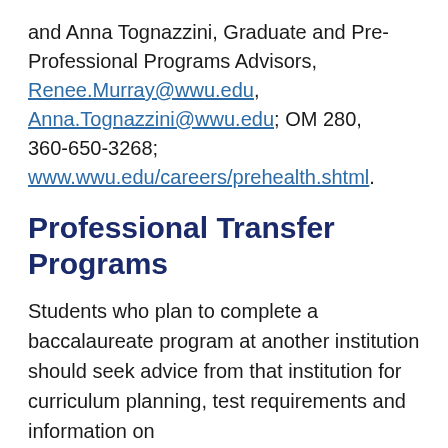and Anna Tognazzini, Graduate and Pre-Professional Programs Advisors, Renee.Murray@wwu.edu, Anna.Tognazzini@wwu.edu; OM 280, 360-650-3268; www.wwu.edu/careers/prehealth.shtml.
Professional Transfer Programs
Students who plan to complete a baccalaureate program at another institution should seek advice from that institution for curriculum planning, test requirements and information on